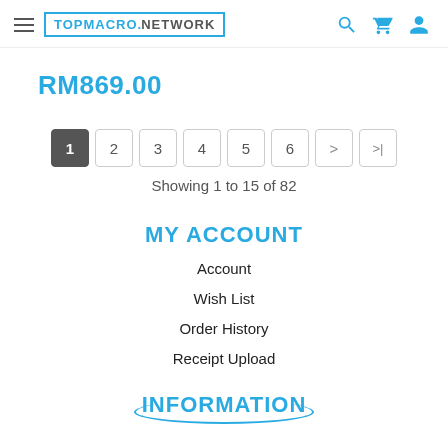TOPMACRO NETWORK
RM869.00
Showing 1 to 15 of 82
MY ACCOUNT
Account
Wish List
Order History
Receipt Upload
INFORMATION